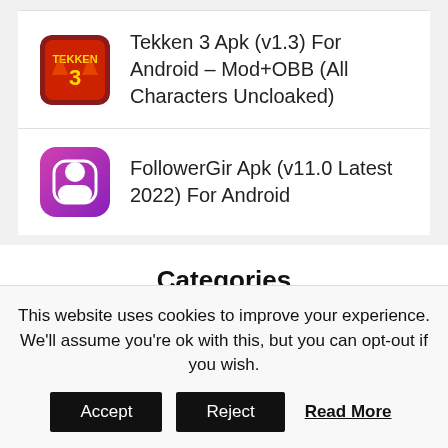Tekken 3 Apk (v1.3) For Android – Mod+OBB (All Characters Uncloaked)
FollowerGir Apk (v11.0 Latest 2022) For Android
Categories
Action
This website uses cookies to improve your experience. We'll assume you're ok with this, but you can opt-out if you wish.